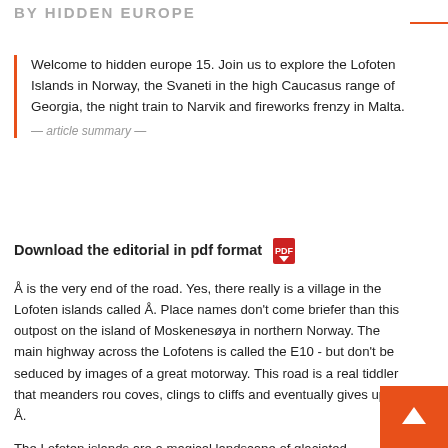BY HIDDEN EUROPE
Welcome to hidden europe 15. Join us to explore the Lofoten Islands in Norway, the Svaneti in the high Caucasus range of Georgia, the night train to Narvik and fireworks frenzy in Malta.
— article summary —
Download the editorial in pdf format
Å is the very end of the road. Yes, there really is a village in the Lofoten islands called Å. Place names don't come briefer than this outpost on the island of Moskenesøya in northern Norway. The main highway across the Lofotens is called the E10 - but don't be seduced by images of a great motorway. This road is a real tiddler that meanders rou coves, clings to cliffs and eventually gives up at Å.
The Lofoten islands are a magical landscape of glaciated mountains and fishing villages. A place "where towering